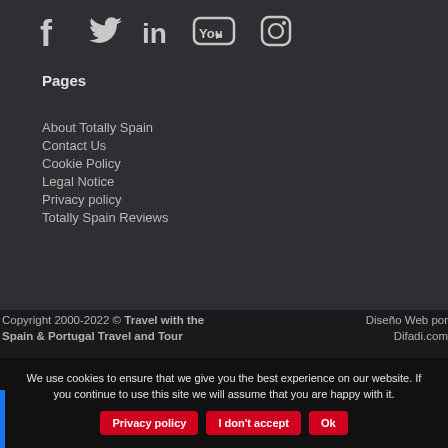[Figure (infographic): Social media icons: Facebook, Twitter, LinkedIn, YouTube, Instagram in light gray on dark background]
Pages
About Totally Spain
Contact Us
Cookie Policy
Legal Notice
Privacy policy
Totally Spain Reviews
Copyright 2000-2022 © Travel with the Spain & Portugal Travel and Tour
Diseño Web por Difadi.com
We use cookies to ensure that we give you the best experience on our website. If you continue to use this site we will assume that you are happy with it.
Privacy policy   I don't accept   Ok